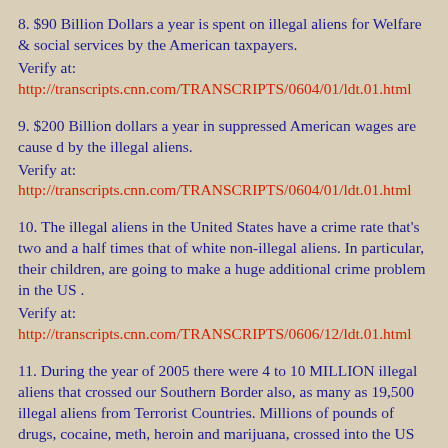8. $90 Billion Dollars a year is spent on illegal aliens for Welfare & social services by the American taxpayers.
Verify at:
http://transcripts.cnn.com/TRANSCRIPTS/0604/01/ldt.01.html
9. $200 Billion dollars a year in suppressed American wages are cause d by the illegal aliens.
Verify at:
http://transcripts.cnn.com/TRANSCRIPTS/0604/01/ldt.01.html
10. The illegal aliens in the United States have a crime rate that's two and a half times that of white non-illegal aliens. In particular, their children, are going to make a huge additional crime problem in the US .
Verify at:
http://transcripts.cnn.com/TRANSCRIPTS/0606/12/ldt.01.html
11. During the year of 2005 there were 4 to 10 MILLION illegal aliens that crossed our Southern Border also, as many as 19,500 illegal aliens from Terrorist Countries. Millions of pounds of drugs, cocaine, meth, heroin and marijuana, crossed into the US from